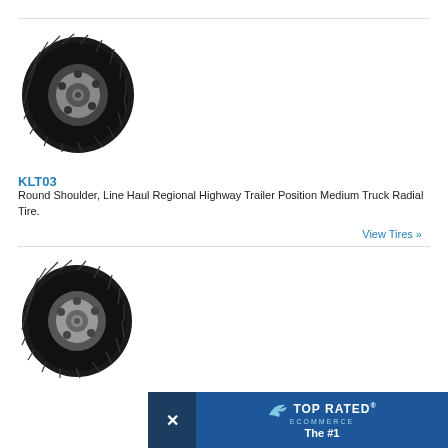[Figure (photo): KLT03 truck tire product photo - black radial tire with detailed tread pattern, side view]
KLT03
Round Shoulder, Line Haul Regional Highway Trailer Position Medium Truck Radial Tire.
View Tires »
[Figure (photo): Second truck tire product photo - black radial tire with detailed tread pattern, side view]
[Figure (logo): Top Rated Ecommerce badge - dark blue banner with bird logo and text 'TOP RATED ECOMMERCE - The #1']